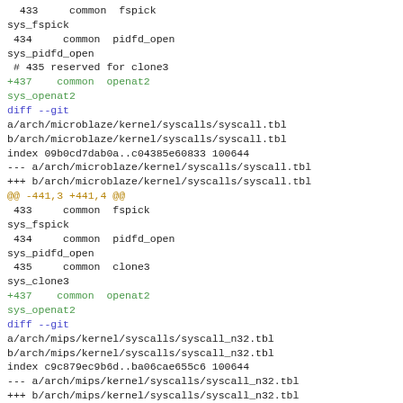433     common  fspick
sys_fspick
 434     common  pidfd_open
sys_pidfd_open
 # 435 reserved for clone3
+437    common  openat2
sys_openat2
diff --git
a/arch/microblaze/kernel/syscalls/syscall.tbl
b/arch/microblaze/kernel/syscalls/syscall.tbl
index 09b0cd7dab0a..c04385e60833 100644
--- a/arch/microblaze/kernel/syscalls/syscall.tbl
+++ b/arch/microblaze/kernel/syscalls/syscall.tbl
@@ -441,3 +441,4 @@
 433     common  fspick
sys_fspick
 434     common  pidfd_open
sys_pidfd_open
 435     common  clone3
sys_clone3
+437    common  openat2
sys_openat2
diff --git
a/arch/mips/kernel/syscalls/syscall_n32.tbl
b/arch/mips/kernel/syscalls/syscall_n32.tbl
index c9c879ec9b6d..ba06cae655c6 100644
--- a/arch/mips/kernel/syscalls/syscall_n32.tbl
+++ b/arch/mips/kernel/syscalls/syscall_n32.tbl
@@ -374,3 +374,4 @@
 433     n32     fspick